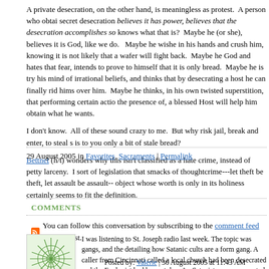A private desecration, on the other hand, is meaningless as protest. A person who obtains a secret desecration believes it has power, believes that the desecration accomplishes something. Who knows what that is? Maybe he (or she), believes it is God, like we do. Maybe he wishes to take it in his hands and crush him, knowing it is not likely that a wafer will fight back. Maybe he fears God and hates that fear, intends to prove to himself that it is only bread. Maybe he is trying to rid his mind of irrational beliefs, and thinks that by desecrating a host he can finally rid himself of power over him. Maybe he thinks, in his own twisted superstition, that performing certain actions with, or in the presence of, a blessed Host will help him obtain what he wants.
I don't know. All of these sound crazy to me. But why risk jail, break and enter, to steal something that is to you only a bit of stale bread?
Bettnet (h/t) wonders why this isn't classified as a hate crime, instead of petty larceny. I don't like sort of legislation that smacks of thoughtcrime---let theft be theft, let assault be assault---but stealing an object whose worth is only in its holiness certainly seems to fit the definition.
29 August 2005 in Favorites, Sacraments | Permalink
COMMENTS
You can follow this conversation by subscribing to the comment feed for this post.
I was listening to St. Joseph radio last week. The topic was gangs, and the guest was detailing how Satanic cults are a form gang. A caller from Cincinnati called in to say that a local church had been desecrated and the Eucharist had been stolen. Apparently Satanists use consecrated hosts in their rituals, something that completely horrified me and gave me the creeps.
Posted by: Valerie | 30 August 2005 at 11:43 AM